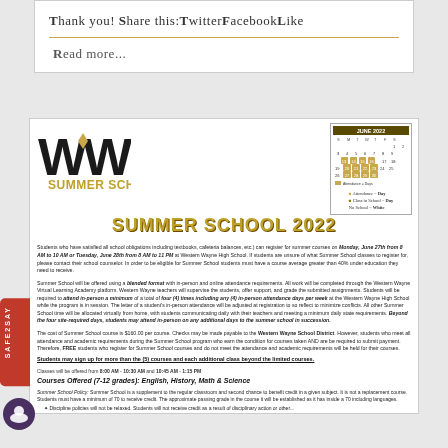Thank you! Share this:TwitterFacebookLike
Read more...
[Figure (illustration): Western Wayne Summer School 2022 header with WW logo and calendar graphic]
Students who have satisfied all school obligations including textbooks, cafeteria balances, etc.) can register for summer courses on Monday, June 27th from 8 AM to 10 AM or Tuesday, June 28th from 8 AM to 11 PM at Western Wayne High School. If students are unsure of what Summer School classes to register for, please contact their school counselor. In order to be eligible for Summer School students must have a course average greater than 40% under education they need to receive.
Summer School will be offered using a blended format with in-person and online attendance requirements. All work will be completed through the Western Wayne Virtual Learning Academy platform. Western Wayne teachers will supervise the students, offer support, and grade the submitted assignments. Students will be required to attend in-person a minimum of a total of four (4) times including any (4) in-person attendance days per week at the Western Wayne High School while the program is in session. The letter of a student's in-person attendance will be adjusted at registration to so reflect the minimize conflicts. All other Summer School time will be allocated virtually from home, with students communicating daily with their teachers and meeting a minimum daily state requirements. Beyond the four site-required days, students may attend in-person on any additional days to the summer school in succession.
The cost of Summer School course is $160.00 per course. Checks may be made payable to the Western Wayne School District. However, students who meet all attendance and academic requirements during the Summer School program who earn the condition for courses taken AND are be required to submit payment. Therefore, FREE students who register for Summer School courses and do not meet the attendance and academic requirements will be held for their courses.
Students may sign up for more than the (5) courses and each additional class beyond the limited courses.
Classes will be offered from 8:00 AM - 10:30 AM and 10:45 AM - 1:15 PM
Courses Offered (7-12 grades): English, History, Math & Science
Summer School Policy: Summer School is a supplement to the regular classroom and second chance to benefit credit in a given subject. It is not a replacement course. Students must have a minimum of 70 to receive credit. The approximate passing grade in the course it will be established as it has inside a 70 including languages.
Discipline policies will not be relaxed. Students will not receive credit as a result of disciplinary action or other...